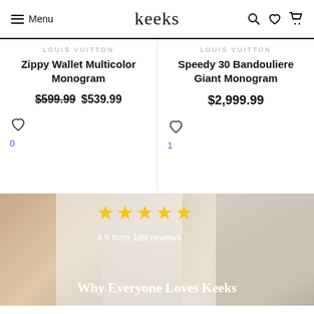Menu | keeks | [search] [wishlist] [cart]
LOUIS VUITTON
Zippy Wallet Multicolor Monogram
$599.99  $539.99
LOUIS VUITTON
Speedy 30 Bandouliere Giant Monogram
$2,999.99
[Figure (photo): Woman lying down wearing pink/white outfit, holding a beige luxury bag, with star rating overlay showing 4.9 from 189 reviews and text Why Everyone Loves Keeks]
4.9 from 189 reviews
Why Everyone Loves Keeks